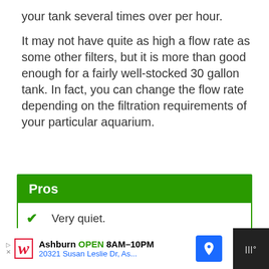your tank several times over per hour.
It may not have quite as high a flow rate as some other filters, but it is more than good enough for a fairly well-stocked 30 gallon tank. In fact, you can change the flow rate depending on the filtration requirements of your particular aquarium.
| Pros |
| --- |
| Very quiet. |
| Extremely easy to mount. |
| Easy to install and maintain. |
| Decent flow rate. |
| Easy 3 in 1 filter cartridges. |
[Figure (screenshot): Advertisement banner for Walgreens: Ashburn OPEN 8AM-10PM, 20321 Susan Leslie Dr, As...]